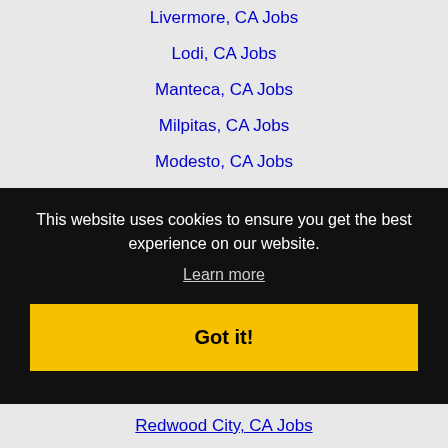Livermore, CA Jobs
Lodi, CA Jobs
Manteca, CA Jobs
Milpitas, CA Jobs
Modesto, CA Jobs
Mountain View, CA Jobs
Napa, CA Jobs
Newark, CA Jobs
North Highlands, CA Jobs
Novato, CA Jobs
This website uses cookies to ensure you get the best experience on our website.
Learn more
Got it!
Redwood City, CA Jobs